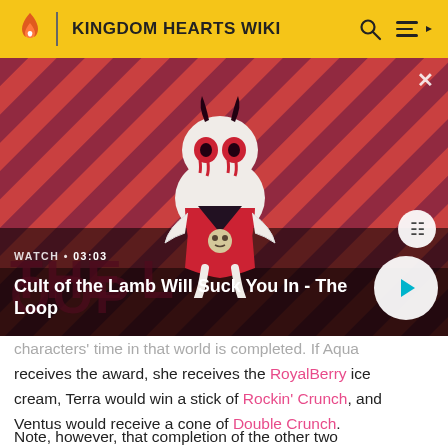KINGDOM HEARTS WIKI
[Figure (screenshot): Video thumbnail for 'Cult of the Lamb Will Suck You In - The Loop', showing animated lamb character on red diagonal striped background. Duration shown as 03:03. Includes play button overlay.]
characters' time in that world is completed. If Aqua receives the award, she receives the RoyalBerry ice cream, Terra would win a stick of Rockin' Crunch, and Ventus would receive a cone of Double Crunch.
Note, however, that completion of the other two